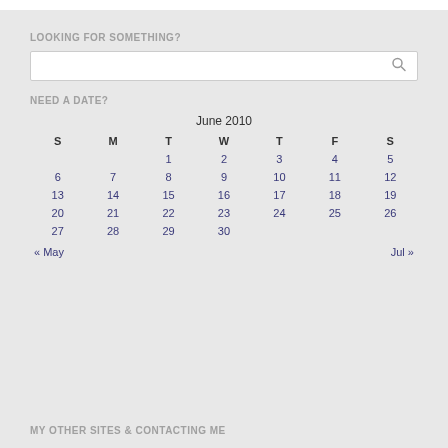LOOKING FOR SOMETHING?
[Figure (other): Search input box with magnifying glass icon]
NEED A DATE?
| S | M | T | W | T | F | S |
| --- | --- | --- | --- | --- | --- | --- |
|  |  | 1 | 2 | 3 | 4 | 5 |
| 6 | 7 | 8 | 9 | 10 | 11 | 12 |
| 13 | 14 | 15 | 16 | 17 | 18 | 19 |
| 20 | 21 | 22 | 23 | 24 | 25 | 26 |
| 27 | 28 | 29 | 30 |  |  |  |
« May    Jul »
MY OTHER SITES & CONTACTING ME